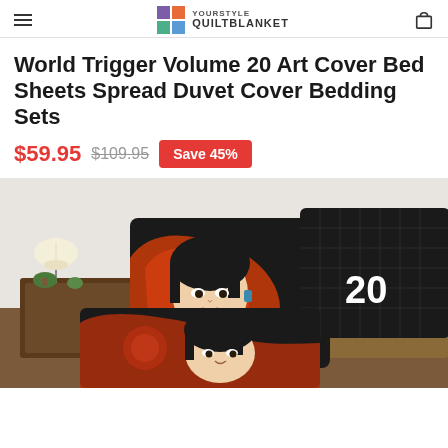YOURSTYLE QUILTBLANKET
World Trigger Volume 20 Art Cover Bed Sheets Spread Duvet Cover Bedding Sets
$59.95  $109.95  Save 45%
[Figure (photo): Product photo showing anime-themed pillow covers with World Trigger Volume 20 artwork featuring a dark-haired character, displayed on a bed with bedside tables and lamps in the background. A large number '20' is visible on one of the pillows.]